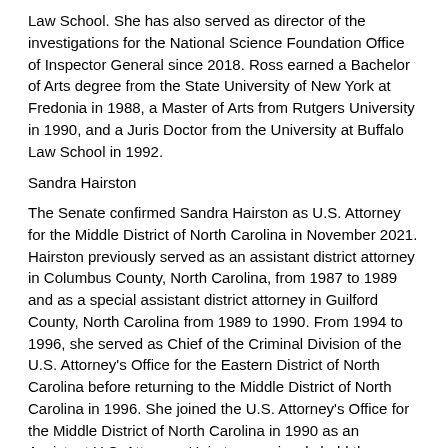Law School. She has also served as director of the investigations for the National Science Foundation Office of Inspector General since 2018. Ross earned a Bachelor of Arts degree from the State University of New York at Fredonia in 1988, a Master of Arts from Rutgers University in 1990, and a Juris Doctor from the University at Buffalo Law School in 1992.
Sandra Hairston
The Senate confirmed Sandra Hairston as U.S. Attorney for the Middle District of North Carolina in November 2021. Hairston previously served as an assistant district attorney in Columbus County, North Carolina, from 1987 to 1989 and as a special assistant district attorney in Guilford County, North Carolina from 1989 to 1990. From 1994 to 1996, she served as Chief of the Criminal Division of the U.S. Attorney's Office for the Eastern District of North Carolina before returning to the Middle District of North Carolina in 1996. She joined the U.S. Attorney's Office for the Middle District of North Carolina in 1990 as an Assistant U.S. Attorney. Hairston previously held the position of First Assistant U.S. Attorney for the Middle District of North Carolina from 2014 to 2021. From March 1, 2021, until her Senate confirmation, she served as the Acting U.S. Attorney for the Middle District of North Carolina. Hairston received her Bachelor of Arts from the University of North Carolina at Charlotte in 1981 and her Juris Doctor from North Carolina Central University School of Law in 1987.
Brandon Brown